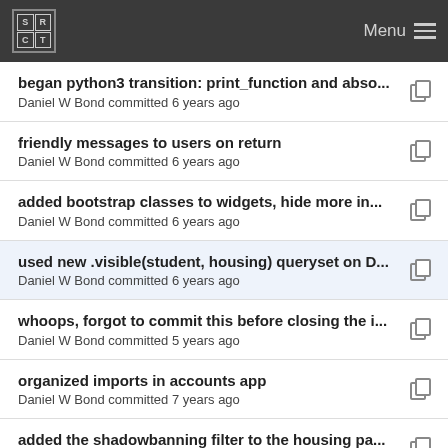SRCT Menu
began python3 transition: print_function and abso...
Daniel W Bond committed 6 years ago
friendly messages to users on return
Daniel W Bond committed 6 years ago
added bootstrap classes to widgets, hide more in...
Daniel W Bond committed 6 years ago
used new .visible(student, housing) queryset on D...
Daniel W Bond committed 6 years ago
whoops, forgot to commit this before closing the i...
Daniel W Bond committed 5 years ago
organized imports in accounts app
Daniel W Bond committed 7 years ago
added the shadowbanning filter to the housing pa...
Daniel W Bond committed 6 years ago